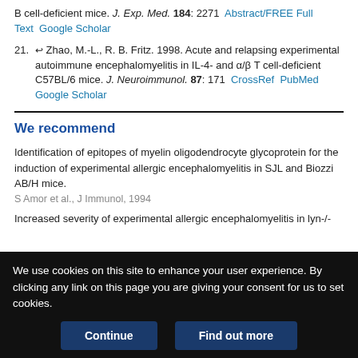B cell-deficient mice. J. Exp. Med. 184: 2271  Abstract/FREE Full Text  Google Scholar
21. ↵ Zhao, M.-L., R. B. Fritz. 1998. Acute and relapsing experimental autoimmune encephalomyelitis in IL-4- and α/β T cell-deficient C57BL/6 mice. J. Neuroimmunol. 87: 171  CrossRef  PubMed  Google Scholar
We recommend
Identification of epitopes of myelin oligodendrocyte glycoprotein for the induction of experimental allergic encephalomyelitis in SJL and Biozzi AB/H mice.
S Amor et al., J Immunol, 1994
Increased severity of experimental allergic encephalomyelitis in lyn-/-
We use cookies on this site to enhance your user experience. By clicking any link on this page you are giving your consent for us to set cookies.